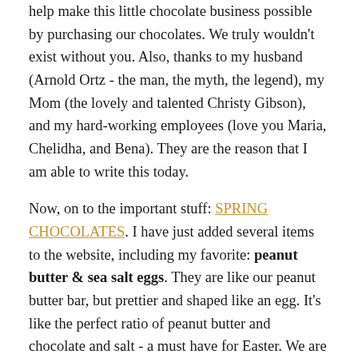help make this little chocolate business possible by purchasing our chocolates. We truly wouldn't exist without you. Also, thanks to my husband (Arnold Ortz - the man, the myth, the legend), my Mom (the lovely and talented Christy Gibson), and my hard-working employees (love you Maria, Chelidha, and Bena). They are the reason that I am able to write this today.

Now, on to the important stuff: SPRING CHOCOLATES. I have just added several items to the website, including my favorite: peanut butter & sea salt eggs. They are like our peanut butter bar, but prettier and shaped like an egg. It's like the perfect ratio of peanut butter and chocolate and salt - a must have for Easter. We are also making raspberry butterflies again this year - organic raspberry jam and dark chocolate-raspberry ganache in a dark chocolate shell - so pretty and delicious, raspberry and chocolate go so well together. One of the new items that we are offering this year is caramel-marshmallow eggs - I made a fluffy vanilla bean marshmallow and a smooth sea salt caramel, put them in a hand-painted dark chocolate egg shell with some dark chocolate…